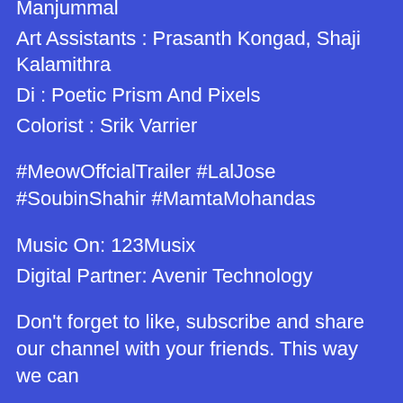Manjummal
Art Assistants : Prasanth Kongad, Shaji Kalamithra
Di : Poetic Prism And Pixels
Colorist : Srik Varrier
#MeowOffcialTrailer #LalJose #SoubinShahir #MamtaMohandas
Music On: 123Musix
Digital Partner: Avenir Technology
Don't forget to like, subscribe and share our channel with your friends. This way we can